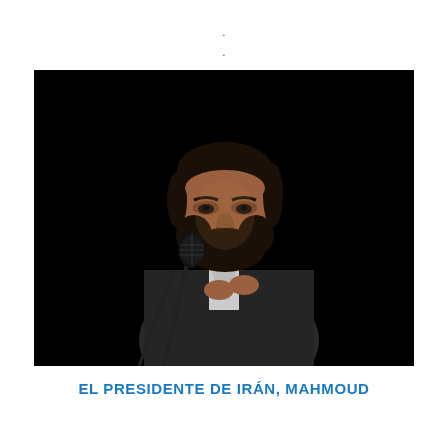.
.
[Figure (photo): A man in a dark suit speaking at a microphone against a black background. The man has dark hair and a beard, gesturing with his hands while speaking.]
EL PRESIDENTE DE IRÁN, MAHMOUD